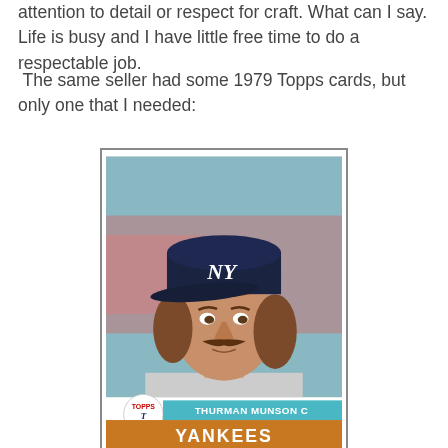attention to detail or respect for craft. What can I say. Life is busy and I have little free time to do a respectable job.
The same seller had some 1979 Topps cards, but only one that I needed:
[Figure (photo): 1979 Topps baseball card of Thurman Munson, catcher for the New York Yankees. Shows a photo of Munson wearing a Yankees cap with NY logo, wavy hair and mustache. Card bottom shows Topps logo circle, name 'THURMAN MUNSON C' in teal text, and 'YANKEES' in white text on an orange-brown banner.]